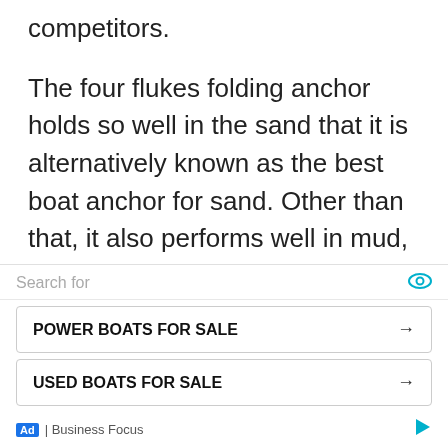competitors.
The four flukes folding anchor holds so well in the sand that it is alternatively known as the best boat anchor for sand. Other than that, it also performs well in mud, gravel, and rock.
Whether you want to get an anchor for a boat, personal watercraft, or a
[Figure (screenshot): Ad overlay showing search bar with 'Search for' text and eye icon, two ad buttons: 'POWER BOATS FOR SALE' and 'USED BOATS FOR SALE' with arrows, and footer with 'Ad | Business Focus' badge and play icon.]